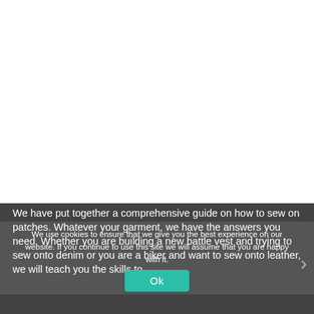[Figure (photo): White/blank area occupying the top portion of the page — likely an image or video that did not load or is cropped out.]
We have put together a comprehensive guide on how to sew on patches. Whatever your garment, we have the answers you need. Whether you are building a new battle vest and trying to sew onto denim or you are a biker and want to sew onto leather, we will teach you the skills to...
We use cookies to ensure that we give you the best experience on our website. If you continue to use this site we will assume that you are happy with it.
Ok